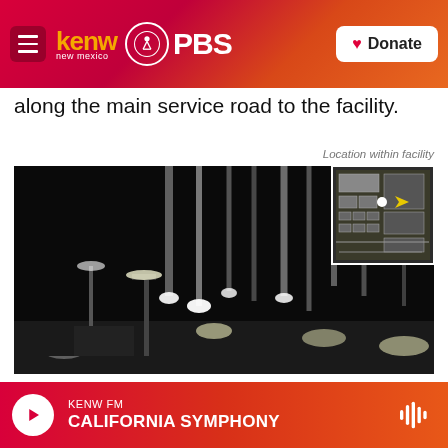KENW New Mexico PBS — Donate
along the main service road to the facility.
Location within facility
[Figure (photo): Night-vision or security camera footage showing bright vertical light beams rising from ground-level lights at the Zaporizhzhia Nuclear Power Plant, with a small inset map showing location within the facility.]
As Russian forces entered the Zaporizhzhia Nuclear Power Plant, Ukrainian troops nearby launched an attack with anti-tank weapons. One tank was
KENW FM — CALIFORNIA SYMPHONY